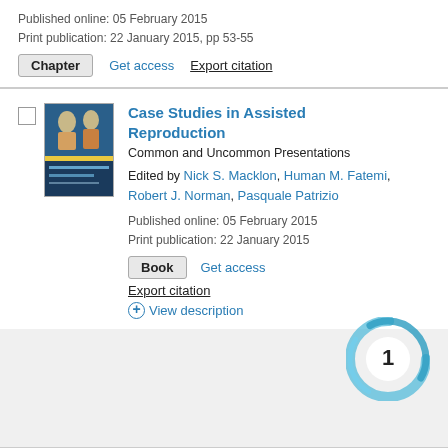Published online: 05 February 2015
Print publication: 22 January 2015, pp 53-55
Chapter  Get access  Export citation
Case Studies in Assisted Reproduction
Common and Uncommon Presentations
Edited by Nick S. Macklon, Human M. Fatemi, Robert J. Norman, Pasquale Patrizio
Published online: 05 February 2015
Print publication: 22 January 2015
Book  Get access
Export citation
⊕ View description